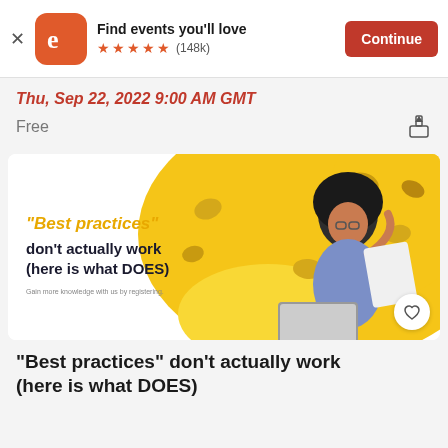Find events you'll love ★★★★★ (148k) Continue
Thu, Sep 22, 2022 9:00 AM GMT
Free
[Figure (illustration): Event promotional banner: '"Best practices" don't actually work (here is what DOES)' with a woman at a laptop on a yellow background with floating coins]
"Best practices" don't actually work (here is what DOES)